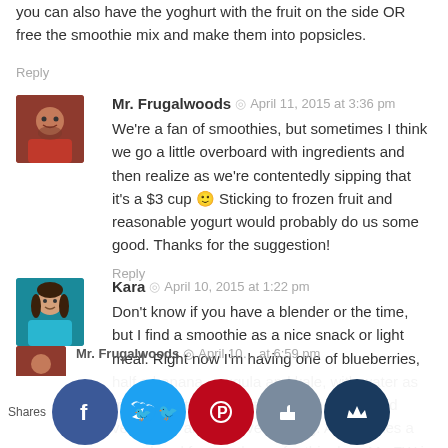you can also have the yoghurt with the fruit on the side OR free the smoothie mix and make them into popsicles.
Reply
Mr. Frugalwoods  ·  April 11, 2015 at 3:36 pm
We're a fan of smoothies, but sometimes I think we go a little overboard with ingredients and then realize as we're contentedly sipping that it's a $3 cup 🙂 Sticking to frozen fruit and reasonable yogurt would probably do us some good. Thanks for the suggestion!
Reply
Kara  ·  April 10, 2015 at 1:22 pm
Don't know if you have a blender or the time, but I find a smoothie as a nice snack or light meal. Right now I'm having one of blueberries, half a banana, arugula and kale, with water as my mixer. It's perfect to get some fruits and veggies in and not overly filling. Also makes a great breakfast on the go for this days Mr. FW is away traveling!
Shares